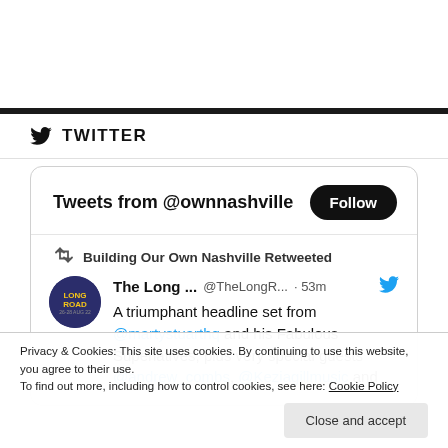[Figure (screenshot): Top white bar area, part of a webpage screenshot]
TWITTER
[Figure (screenshot): Embedded Twitter widget showing Tweets from @ownnashville with a Follow button, a retweet by Building Our Own Nashville from The Long Road account, tweet text: A triumphant headline set from @martystuarthq and his Fabulous Superlatives, plus very special guests @andrew_combs, @Keziagillmusic and]
Privacy & Cookies: This site uses cookies. By continuing to use this website, you agree to their use.
To find out more, including how to control cookies, see here: Cookie Policy
Close and accept